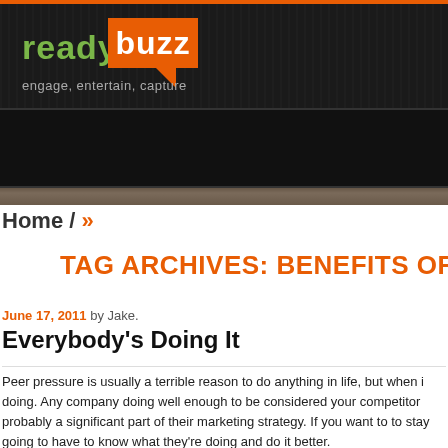[Figure (logo): readybuzz logo with green 'ready' text and orange 'buzz' box with speech bubble triangle, tagline 'engage, entertain, capture', dark wood-textured header background]
Home / »
TAG ARCHIVES: BENEFITS OF S
June 17, 2011 by Jake.
Everybody's Doing It
Peer pressure is usually a terrible reason to do anything in life, but when i doing. Any company doing well enough to be considered your competitor probably a significant part of their marketing strategy. If you want to to stay going to have to know what they're doing and do it better.